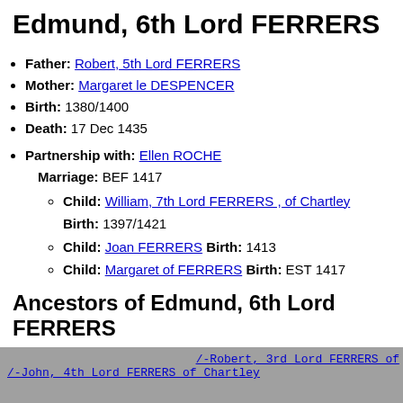Edmund, 6th Lord FERRERS
Father: Robert, 5th Lord FERRERS
Mother: Margaret le DESPENCER
Birth: 1380/1400
Death: 17 Dec 1435
Partnership with: Ellen ROCHE
Marriage: BEF 1417
  Child: William, 7th Lord FERRERS , of Chartley Birth: 1397/1421
  Child: Joan FERRERS Birth: 1413
  Child: Margaret of FERRERS Birth: EST 1417
Ancestors of Edmund, 6th Lord FERRERS
/-Robert, 3rd Lord FERRERS of
/-John, 4th Lord FERRERS of Chartley